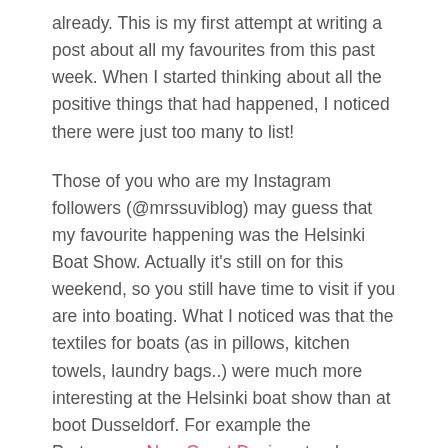already. This is my first attempt at writing a post about all my favourites from this past week. When I started thinking about all the positive things that had happened, I noticed there were just too many to list!
Those of you who are my Instagram followers (@mrssuviblog) may guess that my favourite happening was the Helsinki Boat Show. Actually it's still on for this weekend, so you still have time to visit if you are into boating. What I noticed was that the textiles for boats (as in pillows, kitchen towels, laundry bags..) were much more interesting at the Helsinki boat show than at boot Dusseldorf. For example the Portuguese New Coast Design stand was very tempting – can one ever have too many pillows on a boat?